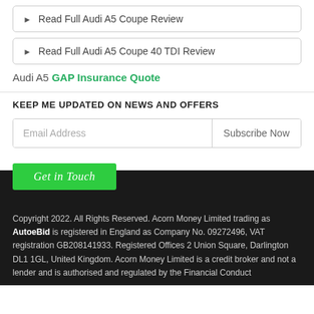▶ Read Full Audi A5 Coupe Review
▶ Read Full Audi A5 Coupe 40 TDI Review
Audi A5 GAP Insurance Quote
KEEP ME UPDATED ON NEWS AND OFFERS
Email Address
Subscribe Now
Get in Touch
Copyright 2022. All Rights Reserved. Acorn Money Limited trading as AutoeBid is registered in England as Company No. 09272496, VAT registration GB208141933. Registered Offices 2 Union Square, Darlington DL1 1GL, United Kingdom. Acorn Money Limited is a credit broker and not a lender and is authorised and regulated by the Financial Conduct